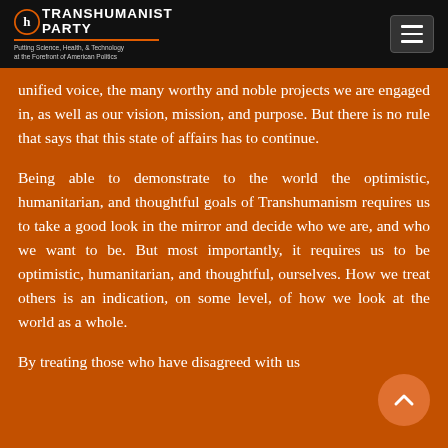TRANSHUMANIST PARTY — Putting Science, Health, & Technology at the Forefront of American Politics
unified voice, the many worthy and noble projects we are engaged in, as well as our vision, mission, and purpose. But there is no rule that says that this state of affairs has to continue.
Being able to demonstrate to the world the optimistic, humanitarian, and thoughtful goals of Transhumanism requires us to take a good look in the mirror and decide who we are, and who we want to be. But most importantly, it requires us to be optimistic, humanitarian, and thoughtful, ourselves. How we treat others is an indication, on some level, of how we look at the world as a whole.
By treating those who have disagreed with us...